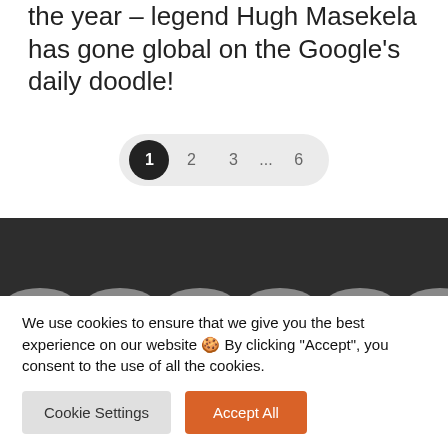the year – legend Hugh Masekela has gone global on the Google's daily doodle!
1 2 3 ... 6
We use cookies to ensure that we give you the best experience on our website 🍪 By clicking "Accept", you consent to the use of all the cookies.
Cookie Settings | Accept All